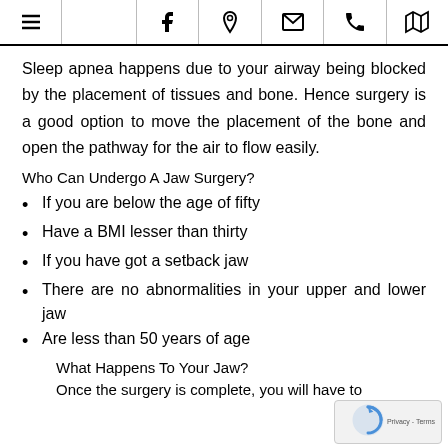Navigation bar with menu, facebook, location, email, phone, map icons
Sleep apnea happens due to your airway being blocked by the placement of tissues and bone. Hence surgery is a good option to move the placement of the bone and open the pathway for the air to flow easily.
Who Can Undergo A Jaw Surgery?
If you are below the age of fifty
Have a BMI lesser than thirty
If you have got a setback jaw
There are no abnormalities in your upper and lower jaw
Are less than 50 years of age
What Happens To Your Jaw?
Once the surgery is complete, you will have to